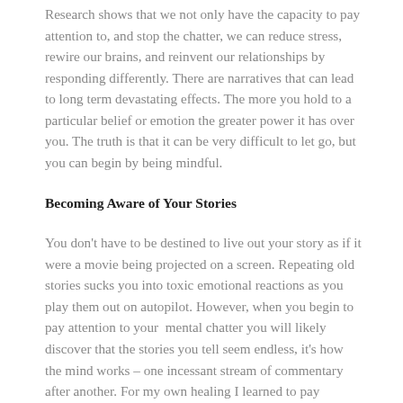Research shows that we not only have the capacity to pay attention to, and stop the chatter, we can reduce stress, rewire our brains, and reinvent our relationships by responding differently. There are narratives that can lead to long term devastating effects. The more you hold to a particular belief or emotion the greater power it has over you. The truth is that it can be very difficult to let go, but you can begin by being mindful.
Becoming Aware of Your Stories
You don't have to be destined to live out your story as if it were a movie being projected on a screen. Repeating old stories sucks you into toxic emotional reactions as you play them out on autopilot. However, when you begin to pay attention to your mental chatter you will likely discover that the stories you tell seem endless, it's how the mind works – one incessant stream of commentary after another. For my own healing I learned to pay attention to the voice that would not shut up, it was an essential step to being free